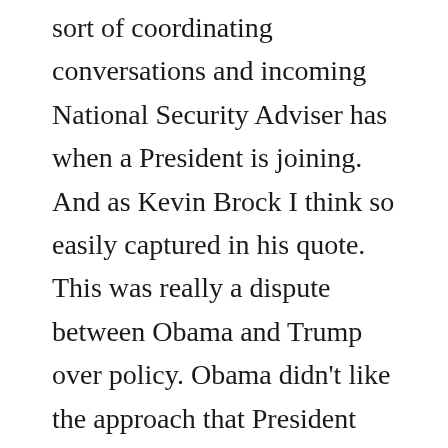sort of coordinating conversations and incoming National Security Adviser has when a President is joining. And as Kevin Brock I think so easily captured in his quote. This was really a dispute between Obama and Trump over policy. Obama didn't like the approach that President Trump might take. Well guess what? President Trump won the election. It was his policy to make. It wasn't Barack Obama's policy to meddle with anymore. Barack Obama the lame duck he should be going into the sunset, gracefully allowing for the transition of power. And instead, he is meddling trying to thwart the incoming National Security Adviser from having an early successful relationship with the Russians